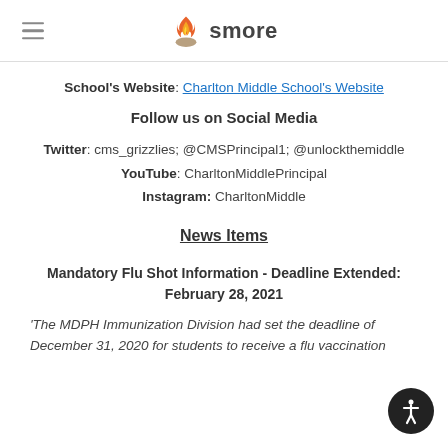smore
School's Website: Charlton Middle School's Website
Follow us on Social Media
Twitter: cms_grizzlies; @CMSPrincipal1; @unlockthemiddle
YouTube: CharltonMiddlePrincipal
Instagram: CharltonMiddle
News Items
Mandatory Flu Shot Information - Deadline Extended: February 28, 2021
'The MDPH Immunization Division had set the deadline of December 31, 2020 for students to receive a flu vaccination